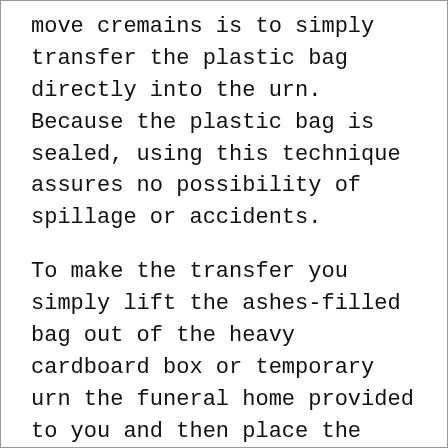move cremains is to simply transfer the plastic bag directly into the urn. Because the plastic bag is sealed, using this technique assures no possibility of spillage or accidents.
To make the transfer you simply lift the ashes-filled bag out of the heavy cardboard box or temporary urn the funeral home provided to you and then place the unopened bag inside the chosen urn.
Because the plastic bag is strong and airtight, permanently sealing the urn is unnecessary.
It's important to note that some urns seal on the bottom instead of the top. For this style of urn, you must leave the cremains in their plastic